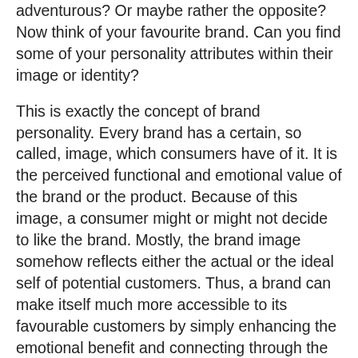adventurous? Or maybe rather the opposite? Now think of your favourite brand. Can you find some of your personality attributes within their image or identity?
This is exactly the concept of brand personality. Every brand has a certain, so called, image, which consumers have of it. It is the perceived functional and emotional value of the brand or the product. Because of this image, a consumer might or might not decide to like the brand. Mostly, the brand image somehow reflects either the actual or the ideal self of potential customers. Thus, a brand can make itself much more accessible to its favourable customers by simply enhancing the emotional benefit and connecting through the help of the concept of brand personality with the needs and wishes of the customer. But in order to do this, brands need to know exactly the personality of